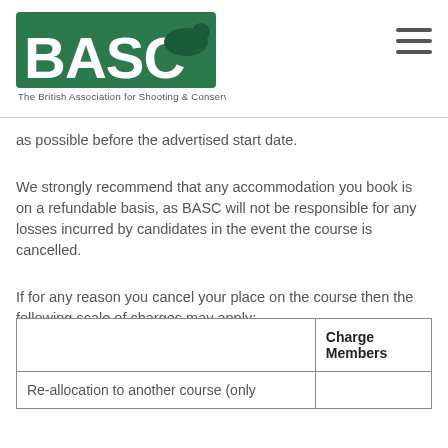BASC – The British Association for Shooting & Conservation
as possible before the advertised start date.
We strongly recommend that any accommodation you book is on a refundable basis, as BASC will not be responsible for any losses incurred by candidates in the event the course is cancelled.
If for any reason you cancel your place on the course then the following scale of charges may apply:-
|  | Charge Members |
| --- | --- |
| Re-allocation to another course (only |  |